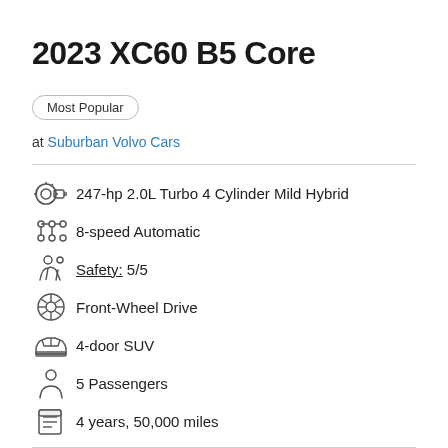2023 XC60 B5 Core
Most Popular
at Suburban Volvo Cars
247-hp 2.0L Turbo 4 Cylinder Mild Hybrid
8-speed Automatic
Safety: 5/5
Front-Wheel Drive
4-door SUV
5 Passengers
4 years, 50,000 miles